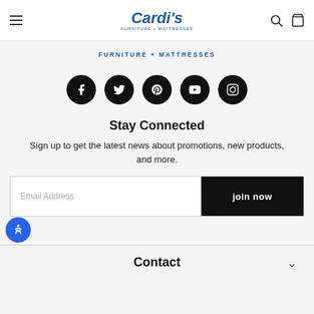Cardi's Furniture + Mattresses
FURNITURE + MATTRESSES
[Figure (other): Social media icons row: Facebook, Twitter, Pinterest, YouTube, Instagram — black circles with white icons]
Stay Connected
Sign up to get the latest news about promotions, new products, and more.
Email Address  join now
Contact